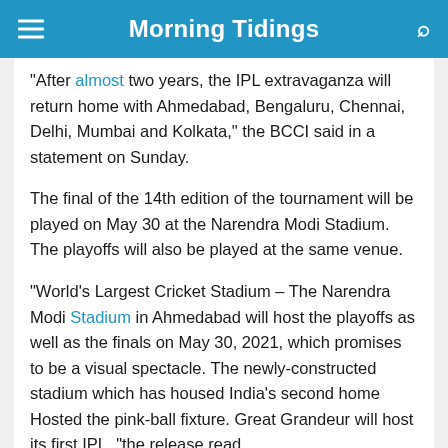Morning Tidings
"After almost two years, the IPL extravaganza will return home with Ahmedabad, Bengaluru, Chennai, Delhi, Mumbai and Kolkata," the BCCI said in a statement on Sunday.
The final of the 14th edition of the tournament will be played on May 30 at the Narendra Modi Stadium. The playoffs will also be played at the same venue.
"World’s Largest Cricket Stadium – The Narendra Modi Stadium in Ahmedabad will host the playoffs as well as the finals on May 30, 2021, which promises to be a visual spectacle. The newly-constructed stadium which has housed India’s second home Hosted the pink-ball fixture. Great Grandeur will host its first IPL, “the release read.